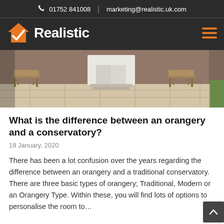📞 01752 841008  |  marketing@realistic.uk.com
[Figure (logo): Realistic company logo with orange house icon and white checkmark, white bold text 'Realistic' on dark background]
[Figure (photo): Outdoor patio area with stone paving, two wooden garden benches, steps leading to a white door, brick house facade in background]
What is the difference between an orangery and a conservatory?
19 January, 2020
There has been a lot confusion over the years regarding the difference between an orangery and a traditional conservatory. There are three basic types of orangery; Traditional, Modern or an Orangery Type. Within these, you will find lots of options to personalise the room to…